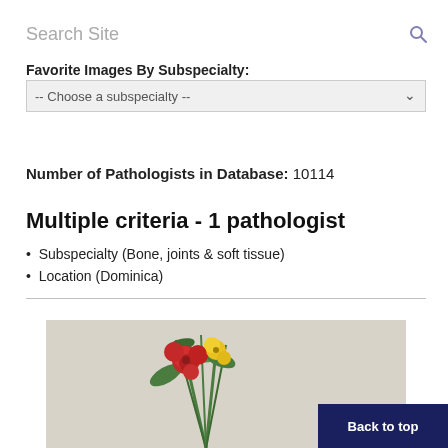Search Site
Favorite Images By Subspecialty:
-- Choose a subspecialty --
Number of Pathologists in Database: 10114
Multiple criteria - 1 pathologist
Subspecialty (Bone, joints & soft tissue)
Location (Dominica)
[Figure (photo): Photograph of flower arrangement with red and yellow flowers, partially visible at bottom of page. A 'Back to top' button overlay is shown in dark navy blue with white text.]